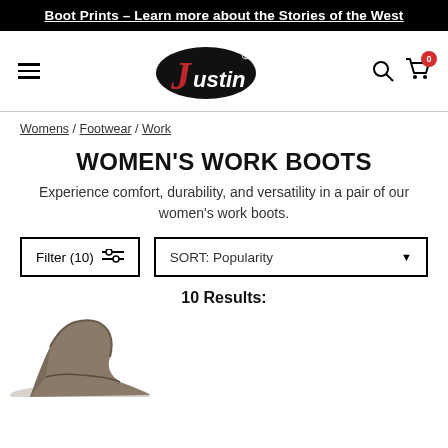Boot Prints – Learn more about the Stories of the West
[Figure (logo): Justin Boots logo — red J in a black oval with 'ustin' text]
Womens / Footwear / Work
WOMEN'S WORK BOOTS
Experience comfort, durability, and versatility in a pair of our women's work boots.
Filter (10)
SORT: Popularity
10 Results:
[Figure (photo): Partial view of a brown/taupe women's work boot at bottom left]